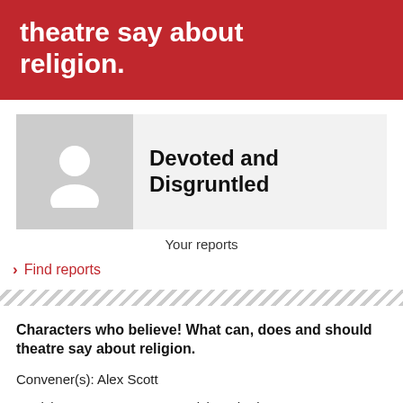theatre say about religion.
[Figure (illustration): User profile placeholder avatar with person silhouette icon]
Devoted and Disgruntled
Your reports
Find reports
Characters who believe! What can, does and should theatre say about religion.
Convener(s): Alex Scott
Participants: Vannessa Hammick Katherine